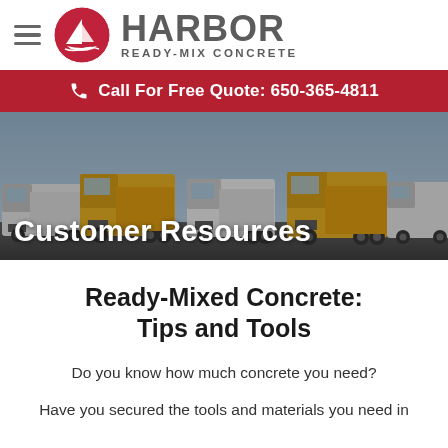☰  HARBOR READY-MIX CONCRETE
Call For Free Quote: 650-365-4811
[Figure (photo): A row of large concrete mixer trucks (yellow and white) parked side by side, with 'Customer Resources' text overlaid in white on the bottom left.]
Ready-Mixed Concrete: Tips and Tools
Do you know how much concrete you need?
Have you secured the tools and materials you need in